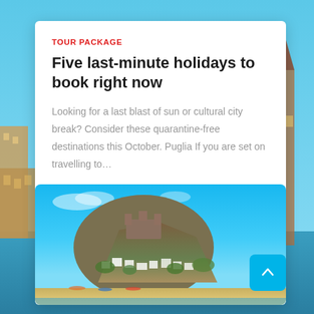TOUR PACKAGE
Five last-minute holidays to book right now
Looking for a last blast of sun or cultural city break? Consider these quarantine-free destinations this October. Puglia If you are set on travelling to…
[Figure (photo): A scenic hillside coastal town with white buildings, a castle on the hilltop, surrounded by green vegetation and sandy beach below under a bright blue sky.]